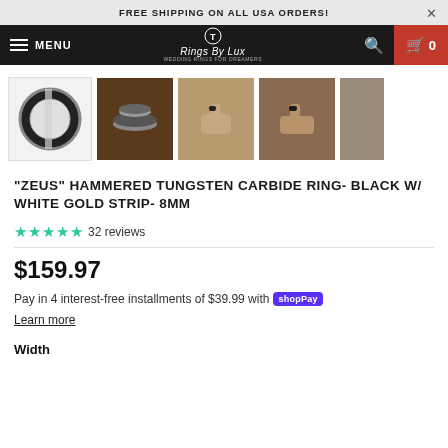FREE SHIPPING ON ALL USA ORDERS!
[Figure (screenshot): Navigation bar with hamburger menu, MENU text, Rings By Lux logo, search icon, and cart with 0 items]
[Figure (photo): Row of product thumbnail images: hammered tungsten carbide ring close-up, stacked rings on table, ring on hand outdoors (two views), and a partial fifth image]
"ZEUS" HAMMERED TUNGSTEN CARBIDE RING- BLACK W/ WHITE GOLD STRIP- 8MM
5.0 stars · 32 reviews
$159.97
Pay in 4 interest-free installments of $39.99 with Shop Pay
Learn more
Width